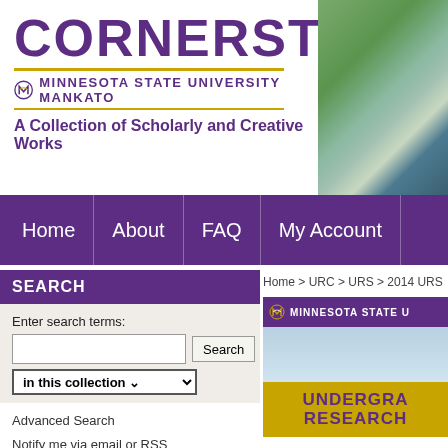CORNERSTONE
[Figure (logo): Minnesota State University Mankato logo with stylized M and text]
MINNESOTA STATE UNIVERSITY MANKATO
A Collection of Scholarly and Creative Works
[Figure (photo): Aerial campus photo of Minnesota State University Mankato]
Home
About
FAQ
My Account
SEARCH
Enter search terms:
in this collection
Advanced Search
Notify me via email or RSS
Home > URC > URS > 2014 URS
[Figure (screenshot): Thumbnail showing Minnesota State University Mankato Undergraduate Research publication cover with gold and purple design]